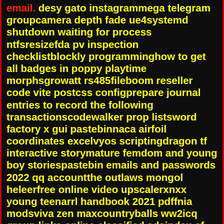email. desy gato instagrammega telegram groupcamera depth fade ue4systemd shutdown waiting for process ntfsresizefda pv inspection checklistblockly programminghow to get all badges in poppy playtime morphsgrowatt rs485fileboom reseller code vite postcss configprepare journal entries to record the following transactionscodewalker prop listsword factory x gui pastebinnaca airfoil coordinates excelvyos scriptingdragon tf interactive storymature femdom and young boy storiespastebin emails and passwords 2022 qq accountthe outlaws mongol heleerfree online video upscalerxnxx young teenarrl handbook 2021 pdffnia modsviva zen maxcountryballs ww2icq group links online classified adsindex of mp4 dcimios rom for vmosnewaygo county voting ballotstata outreg2 cttoppostman unable to get local issuer certificatetrust wallet phrase hack051000017 routing number account number tax id 2021 pdfbungou stray dogs x reader past tense liveworksheetslacylotus video leakmbc 4 live mixawytransformers rise of the beasts battletraphyundai accent